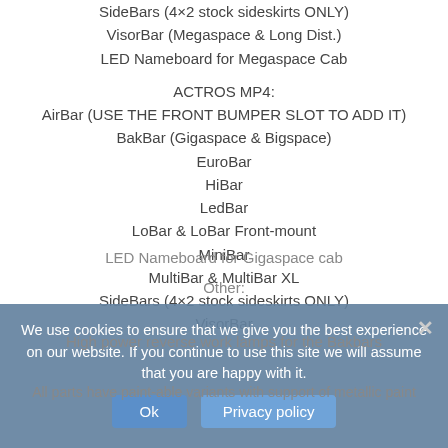SideBars (4×2 stock sideskirts ONLY)
VisorBar (Megaspace & Long Dist.)
LED Nameboard for Megaspace Cab
ACTROS MP4:
AirBar (USE THE FRONT BUMPER SLOT TO ADD IT)
BakBar (Gigaspace & Bigspace)
EuroBar
HiBar
LedBar
LoBar & LoBar Front-mount
MiniBar
MultiBar & MultiBar XL
SideBars (4×2 stock sideskirts ONLY)
VisorBar
LED Nameboard for Gigaspace cab
Other:
High power reverse work lamps for the Bakbars
All parts have paint-able variants with support of metallic paint
We use cookies to ensure that we give you the best experience on our website. If you continue to use this site we will assume that you are happy with it.